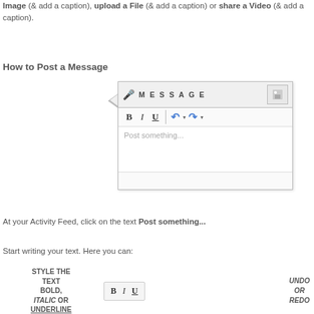Image (& add a caption), upload a File (& add a caption) or share a Video (& add a caption).
How to Post a Message
[Figure (screenshot): Screenshot of a message posting interface with toolbar showing Bold, Italic, Underline buttons, undo/redo arrows, and a text area with placeholder 'Post something...']
At your Activity Feed, click on the text Post something...
Start writing your text. Here you can:
[Figure (infographic): Infographic showing: STYLE THE TEXT BOLD, ITALIC OR UNDERLINE with a toolbar showing B, I, U buttons, and UNDO OR REDO options]